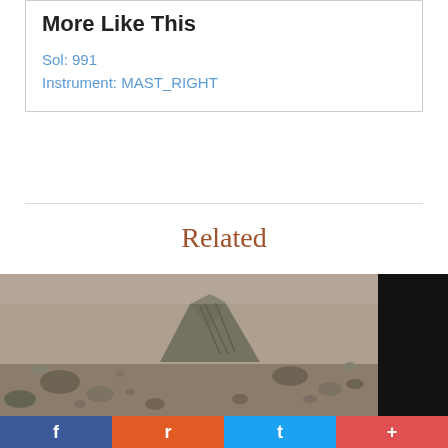More Like This
Sol: 991
Instrument: MAST_RIGHT
Related
[Figure (photo): Grayscale photo of Mars surface terrain with rocks and layered rock formations taken by Curiosity rover MAST_RIGHT camera on Sol 991]
f  reddit  Twitter  +